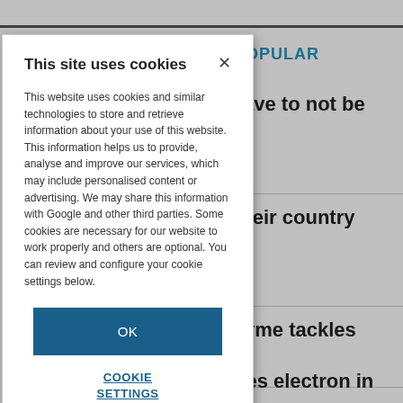POPULAR
ave to not be
their country
zyme tackles
hes electron in
This site uses cookies
This website uses cookies and similar technologies to store and retrieve information about your use of this website. This information helps us to provide, analyse and improve our services, which may include personalised content or advertising. We may share this information with Google and other third parties. Some cookies are necessary for our website to work properly and others are optional. You can review and configure your cookie settings below.
OK
COOKIE SETTINGS